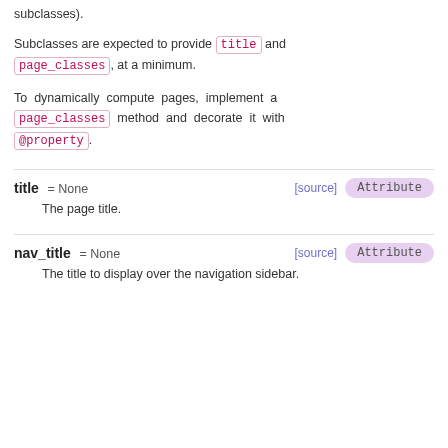subclasses).
Subclasses are expected to provide title and page_classes, at a minimum.
To dynamically compute pages, implement a page_classes method and decorate it with @property.
title = None [source] Attribute
The page title.
nav_title = None [source] Attribute
The title to display over the navigation sidebar.